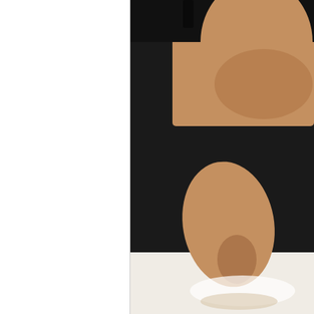[Figure (photo): Close-up photo of a person's hand/thumb resting on a white surface, partially cropped on the right side of the page. The hand appears to be illuminated from below.]
They then put in your hands inside this machine th
[Figure (photo): Photo of a medical device/machine on a wooden surface with a black background. The device appears to be a hand scanning or measurement machine with indicator lights visible.]